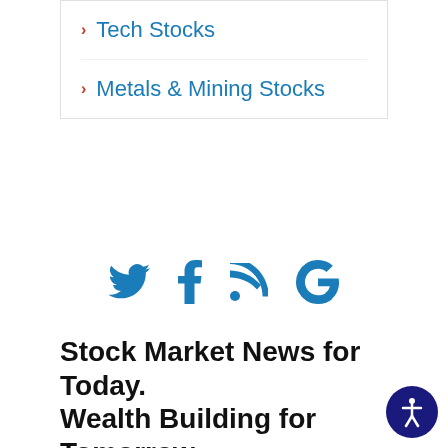Tech Stocks
Metals & Mining Stocks
[Figure (infographic): Social media icons: Twitter bird, Facebook f, RSS feed symbol, Google G]
Stock Market News for Today. Wealth Building for Tomorrow.
Founded in 1993 by brothers Tom and David Gardner, The Motley Fool helps millions of people around the world achieve